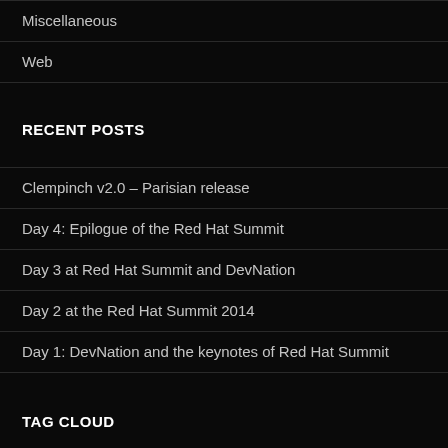Miscellaneous
Web
RECENT POSTS
Clempinch v2.0 – Parisian release
Day 4: Epilogue of the Red Hat Summit
Day 3 at Red Hat Summit and DevNation
Day 2 at the Red Hat Summit 2014
Day 1: DevNation and the keynotes of Red Hat Summit
TAG CLOUD